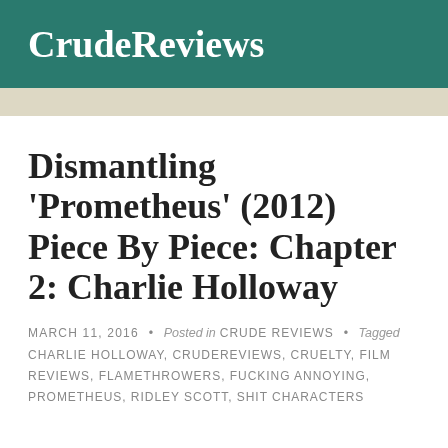CrudeReviews
Dismantling 'Prometheus' (2012) Piece By Piece: Chapter 2: Charlie Holloway
MARCH 11, 2016 • Posted in CRUDE REVIEWS • Tagged CHARLIE HOLLOWAY, CRUDEREVIEWS, CRUELTY, FILM REVIEWS, FLAMETHROWERS, FUCKING ANNOYING, PROMETHEUS, RIDLEY SCOTT, SHIT CHARACTERS